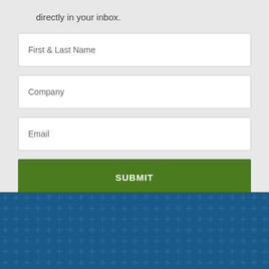directly in your inbox.
First & Last Name
Company
Email
SUBMIT
[Figure (illustration): Dark blue footer section with repeating cross/plus pattern in lighter blue]